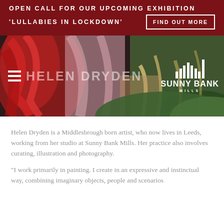OPEN CALL FOR OUR UPCOMING EXHIBITION 'LULLABIES IN LOCKDOWN'   FIND OUT MORE
[Figure (photo): Hero image showing abstract colorful painting with Helen Dryden name overlay, hamburger menu icon, and Sunny Bank Mills logo on dark artistic background]
Helen Dryden is a Middlesbrough born artist, who now lives in Leeds, working from her studio at Sunny Bank Mills. Her practice also involves curating, illustration and photography.
"I work primarily in painting. I create in an expressive and instinctual way, combining imaginary objects, people and scenarios